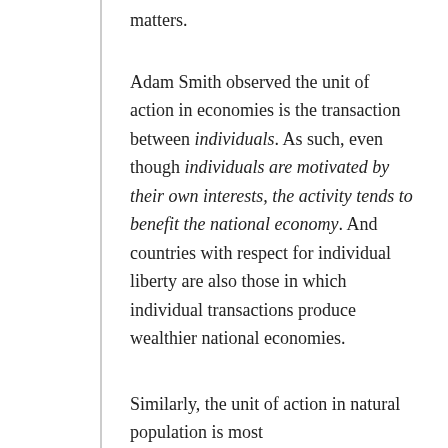matters.
Adam Smith observed the unit of action in economies is the transaction between individuals. As such, even though individuals are motivated by their own interests, the activity tends to benefit the national economy. And countries with respect for individual liberty are also those in which individual transactions produce wealthier national economies.
Similarly, the unit of action in natural population is most